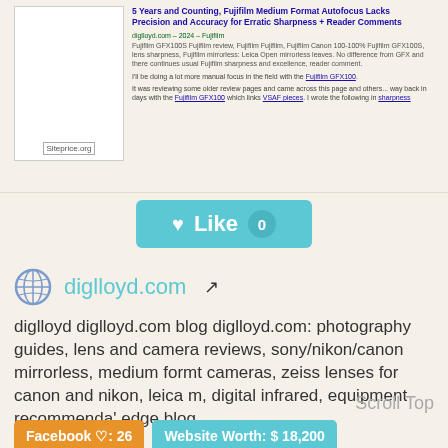[Figure (screenshot): Screenshot of a blog post titled '5 Years and Counting, Fujifilm Medium Format Autofocus Lacks Precision and Accuracy for Erratic Sharpness + Reader Comments' with a thumbnail image on the left showing siteprice.org label]
[Figure (other): Teal Like button with heart icon and count of 0]
diglloyd.com
diglloyd diglloyd.com blog diglloyd.com: photography guides, lens and camera reviews, sony/nikon/canon mirrorless, medium formt cameras, zeiss lenses for canon and nikon, leica m, digital infrared, equipment recommenda' edge blog
Scroll Top
Facebook ♡: 26
Website Worth: $ 18,200
Categories: Art/Culture/Heritage, Entertainment
Is it similar?
Yes 0
No 0